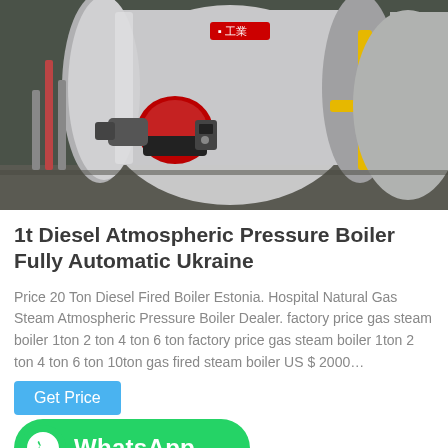[Figure (photo): Industrial boiler equipment — large cylindrical silver boiler with red burner attachment and yellow gas pipes in an industrial setting]
1t Diesel Atmospheric Pressure Boiler Fully Automatic Ukraine
Price 20 Ton Diesel Fired Boiler Estonia. Hospital Natural Gas Steam Atmospheric Pressure Boiler Dealer. factory price gas steam boiler 1ton 2 ton 4 ton 6 ton factory price gas steam boiler 1ton 2 ton 4 ton 6 ton 10ton gas fired steam boiler US $ 2000…
Get Price
[Figure (logo): WhatsApp button with green background and WhatsApp logo icon]
[Figure (photo): Interior ceiling view of an industrial building with red pipe and suspended ceiling tiles]